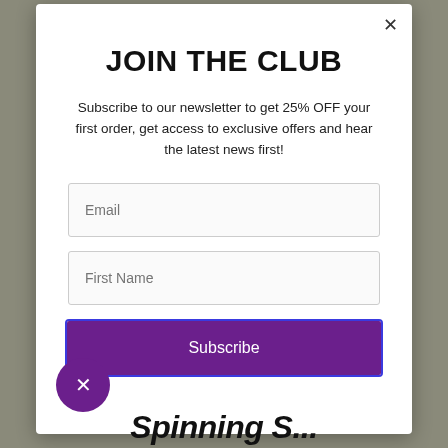JOIN THE CLUB
Subscribe to our newsletter to get 25% OFF your first order, get access to exclusive offers and hear the latest news first!
Email
First Name
Subscribe